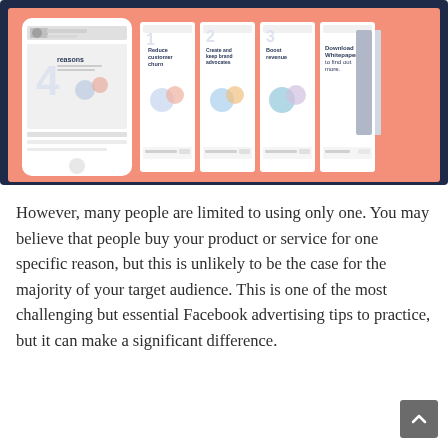[Figure (screenshot): Screenshot of a Facebook carousel ad campaign showing a phone mockup on the left with a Facebook sponsored post, and multiple carousel cards to the right with numbered reasons: 4 reasons, 1 Reduce customer churn, 2 Create and keep brand advocates, 3 Boost revenue, and a 4th card with Download Whitepaper. The background is salmon/coral pink, framed with a dark navy border.]
However, many people are limited to using only one. You may believe that people buy your product or service for one specific reason, but this is unlikely to be the case for the majority of your target audience. This is one of the most challenging but essential Facebook advertising tips to practice, but it can make a significant difference.